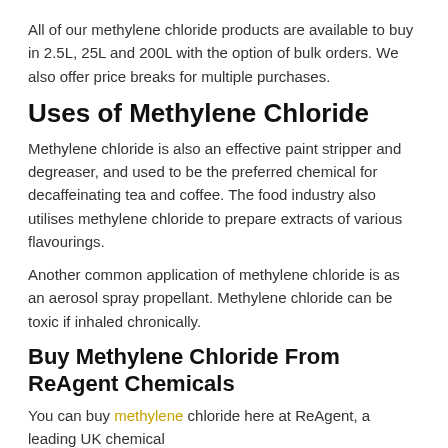All of our methylene chloride products are available to buy in 2.5L, 25L and 200L with the option of bulk orders. We also offer price breaks for multiple purchases.
Uses of Methylene Chloride
Methylene chloride is also an effective paint stripper and degreaser, and used to be the preferred chemical for decaffeinating tea and coffee. The food industry also utilises methylene chloride to prepare extracts of various flavourings.
Another common application of methylene chloride is as an aerosol spray propellant. Methylene chloride can be toxic if inhaled chronically.
Buy Methylene Chloride From ReAgent Chemicals
You can buy methylene chloride here at ReAgent, a leading UK chemical